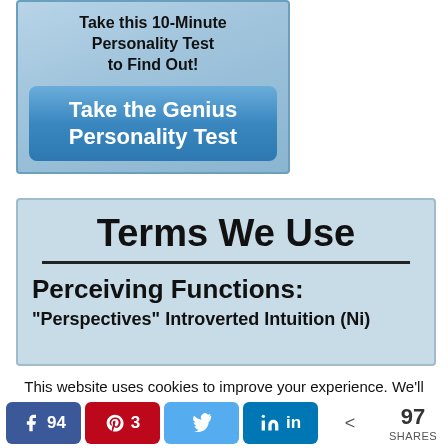[Figure (screenshot): Ad banner for a personality test. Top text: 'Take this 10-Minute Personality Test to Find Out!' with a blue button: 'Take the Genius Personality Test']
[Figure (screenshot): Infographic header reading 'Terms We Use' with a horizontal rule, then 'Perceiving Functions:' and cropped text '“Peronectives” Introverted Intuition (Ni)']
This website uses cookies to improve your experience. We'll assume you're ok with this, but you can opt-out if you wish.
[Figure (infographic): Social share bar with Facebook (94), Pinterest (3), Twitter, LinkedIn buttons and total 97 SHARES]